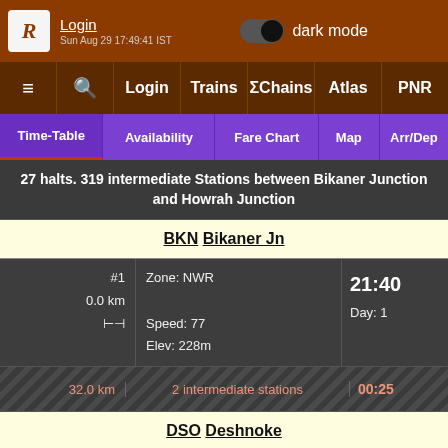Login | dark mode | Sun Aug 29 17:49:41 IST
≡ | 🔍 | Login | Trains | ΣChains | Atlas | PNR
Time-Table | Availability | Fare Chart | Map | Arr/Dep
27 halts. 319 intermediate Stations between Bikaner Junction and Howrah Junction
| Station | Zone/Speed/Elev | Time |
| --- | --- | --- |
| #1 0.0 km ⊣ | Zone: NWR  Speed: 77  Elev: 228m | 21:40  Day: 1 |
| 32.0 km | 2 intermediate stations | 00:25 |
| DSO Deshnoke |  |  |
| #2 32.0 km ⊣ | Zone: NWR  Speed: 80  Elev: 275m | 22:05  22:07  D |
| 32.1 km | 1 intermediate stations |  |